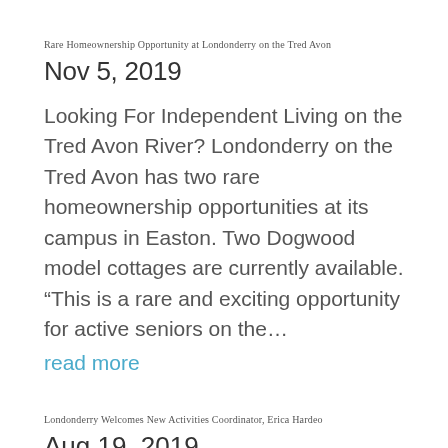Rare Homeownership Opportunity at Londonderry on the Tred Avon
Nov 5, 2019
Looking For Independent Living on the Tred Avon River? Londonderry on the Tred Avon has two rare homeownership opportunities at its campus in Easton. Two Dogwood model cottages are currently available. “This is a rare and exciting opportunity for active seniors on the…
read more
Londonderry Welcomes New Activities Coordinator, Erica Hardeo
Aug 19, 2019
Londonderry on the Tred Avon is proud to